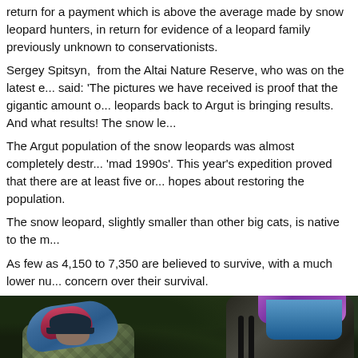return for a payment which is above the average made by snow leopard hunters, in return for evidence of a leopard family previously unknown to conservationists.
Sergey Spitsyn, from the Altai Nature Reserve, who was on the latest expedition, said: 'The pictures we have received is proof that the gigantic amount of work to bring leopards back to Argut is bringing results. And what results! The snow le...
The Argut population of the snow leopards was almost completely destroyed during the 'mad 1990s'. This year's expedition proved that there are at least five or... hopes about restoring the population.
The snow leopard, slightly smaller than other big cats, is native to the m...
As few as 4,150 to 7,350 are believed to survive, with a much lower nu... concern over their survival.
[Figure (photo): Two people seen from behind, wearing large backpacks with rolled sleeping mats (blue/pink on left, purple on right), standing in front of trees/forest vegetation.]